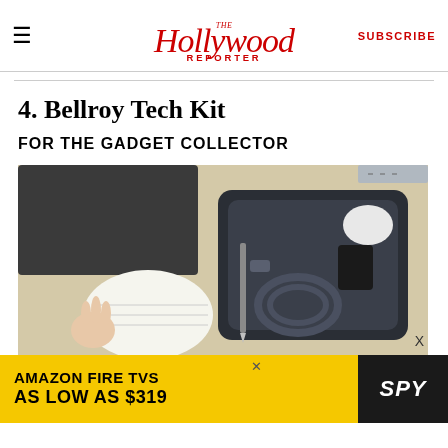The Hollywood Reporter — SUBSCRIBE
4. Bellroy Tech Kit
FOR THE GADGET COLLECTOR
[Figure (photo): Open Bellroy Tech Kit case with cables, adapter, stylus and small accessories laid on a wooden desk next to a notebook and laptop]
[Figure (infographic): Advertisement banner: AMAZON FIRE TVS AS LOW AS $319 with SPY logo]